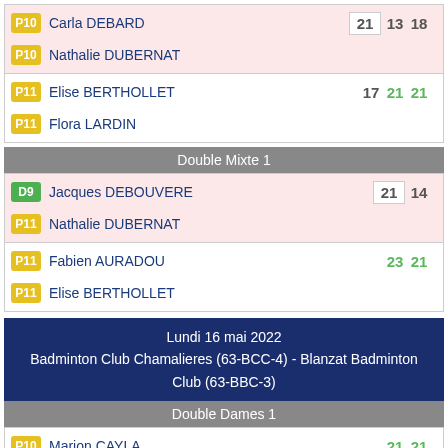| P10 | Carla DEBARD | 21 | 13 | 18 |
| P10 | Nathalie DUBERNAT |  |  |  |
| P11 | Elise BERTHOLLET | 17 | 21 | 21 |
| P11 | Flora LARDIN |  |  |  |
Double Mixte 1
| D9 | Jacques DEBOUVERE | 21 | 14 |
| P11 | Nathalie DUBERNAT |  |  |
| P11 | Fabien AURADOU | 23 | 21 |
| P11 | Elise BERTHOLLET |  |  |
Lundi 16 mai 2022
Badminton Club Chamalieres (63-BCC-4) - Blanzat Badminton Club (63-BBC-3)
Double Dames 1
| P10 | Marion CAYLA | 21 | 21 |
| P12 | Sophie CAYLA |  |  |